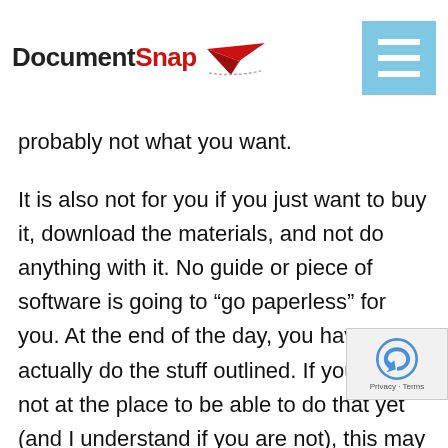DocumentSnap
probably not what you want.
It is also not for you if you just want to buy it, download the materials, and not do anything with it. No guide or piece of software is going to “go paperless” for you. At the end of the day, you have to actually do the stuff outlined. If you are not at the place to be able to do that yet (and I understand if you are not), this may not be for you.
That’s it! Hopefully speak to you soon on